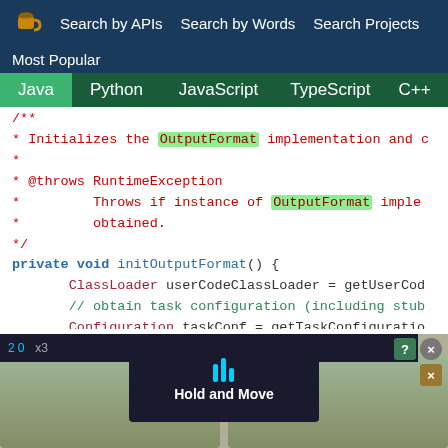Search by APIs   Search by Words   Search Projects
Most Popular
Java  Python  JavaScript  TypeScript  C++  Scala
[Figure (screenshot): Java code snippet showing a comment block with highlighted 'OutputFormat' tokens, followed by private void initOutputFormat() method body with ClassLoader, Configuration, and try block code.]
[Figure (screenshot): Advertisement banner showing 'Hold and Move' with dark overlay and control buttons.]